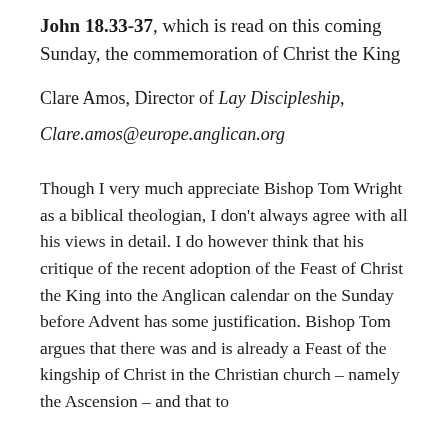John 18.33-37, which is read on this coming Sunday, the commemoration of Christ the King
Clare Amos, Director of Lay Discipleship,
Clare.amos@europe.anglican.org
Though I very much appreciate Bishop Tom Wright as a biblical theologian, I don’t always agree with all his views in detail. I do however think that his critique of the recent adoption of the Feast of Christ the King into the Anglican calendar on the Sunday before Advent has some justification. Bishop Tom argues that there was and is already a Feast of the kingship of Christ in the Christian church – namely the Ascension – and that to